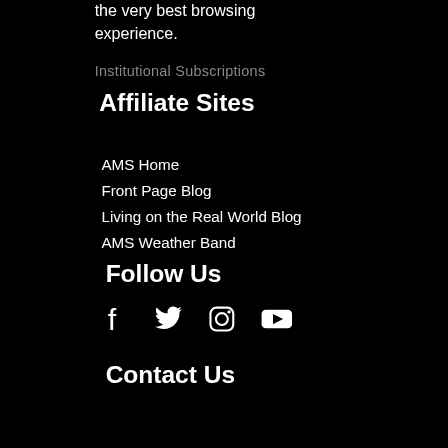the very best browsing experience.
Institutional Subscriptions
Affiliate Sites
AMS Home
Front Page Blog
Living on the Real World Blog
AMS Weather Band
Follow Us
[Figure (illustration): Social media icons: Facebook, Twitter, Instagram, YouTube]
Contact Us